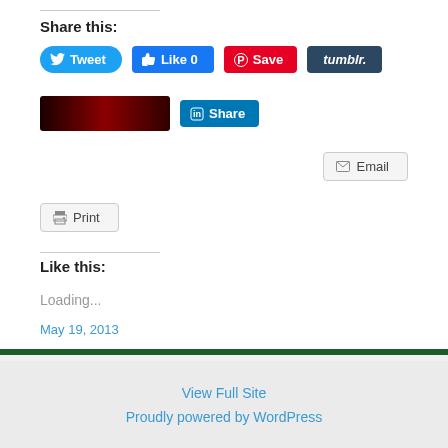Share this:
[Figure (screenshot): Social sharing buttons: Tweet (Twitter), Like 0 (Facebook), Save (Pinterest), tumblr., Reddit image button, Share (LinkedIn)]
[Figure (screenshot): Email button]
[Figure (screenshot): Print button]
Like this:
Loading...
May 19, 2013
View Full Site
Proudly powered by WordPress